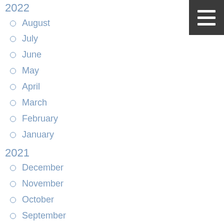2022
August
July
June
May
April
March
February
January
2021
December
November
October
September
August
July